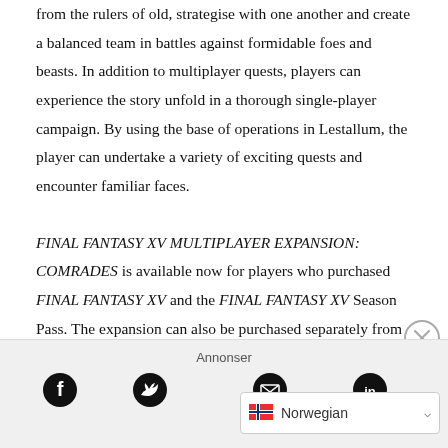from the rulers of old, strategise with one another and create a balanced team in battles against formidable foes and beasts. In addition to multiplayer quests, players can experience the story unfold in a thorough single-player campaign. By using the base of operations in Lestallum, the player can undertake a variety of exciting quests and encounter familiar faces.
FINAL FANTASY XV MULTIPLAYER EXPANSION: COMRADES is available now for players who purchased FINAL FANTASY XV and the FINAL FANTASY XV Season Pass. The expansion can also be purchased separately from the Xbox Games Store or PlayStation Store separately.
[Figure (other): Close/dismiss button (circle with X)]
Annonser
[Figure (other): Social media icons: Facebook, Twitter, Email, LinkedIn]
[Figure (other): Language selector dropdown showing Norwegian flag and 'Norwegian' text]